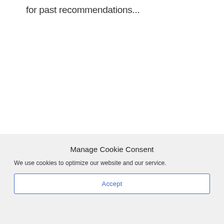for past recommendations...
Manage Cookie Consent
We use cookies to optimize our website and our service.
Accept